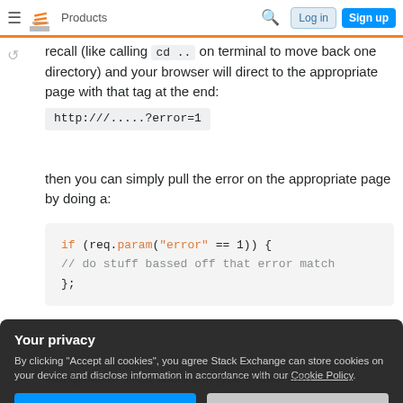≡ [logo] Products  🔍  Log in  Sign up
recall (like calling cd .. on terminal to move back one directory) and your browser will direct to the appropriate page with that tag at the end:
http:///.....?error=1
then you can simply pull the error on the appropriate page by doing a:
if (req.param("error" == 1)) {
// do stuff bassed off that error match
};
Your privacy
By clicking "Accept all cookies", you agree Stack Exchange can store cookies on your device and disclose information in accordance with our Cookie Policy.
manipulation since users can type in their own